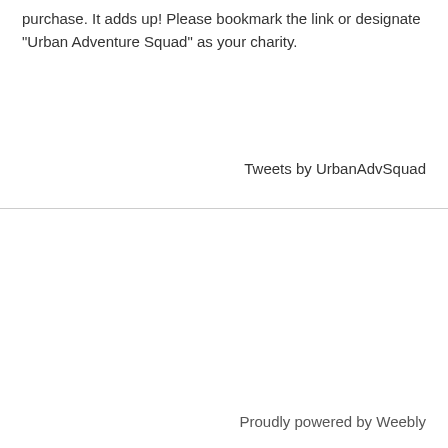purchase. It adds up! Please bookmark the link or designate "Urban Adventure Squad" as your charity.
Tweets by UrbanAdvSquad
Proudly powered by Weebly